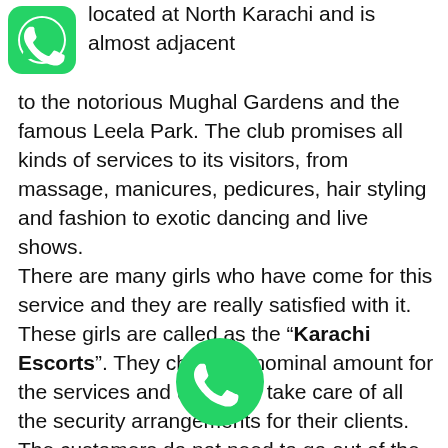located at North Karachi and is almost adjacent to the notorious Mughal Gardens and the famous Leela Park. The club promises all kinds of services to its visitors, from massage, manicures, pedicures, hair styling and fashion to exotic dancing and live shows.
There are many girls who have come for this service and they are really satisfied with it. These girls are called as the “Karachi Escorts”. They charge a nominal amount for the services and they also take care of all the security arrangements for their clients. The customers do not need to go out of the premises and neither do they have to worry about anything else. All that they have to do is just relax in the club and enjoy the services being offered to them by these girls.
[Figure (logo): WhatsApp logo icon (green rounded square with white phone handset)]
[Figure (logo): WhatsApp call icon (green circle with white phone handset)]